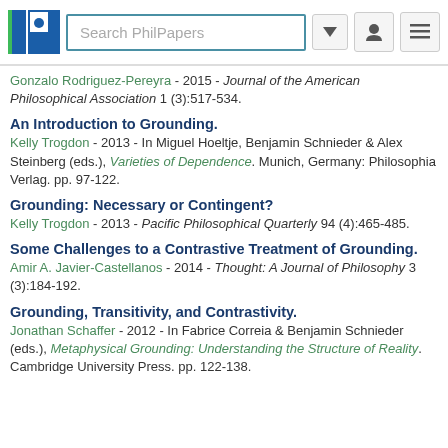Search PhilPapers
Gonzalo Rodriguez-Pereyra - 2015 - Journal of the American Philosophical Association 1 (3):517-534.
An Introduction to Grounding.
Kelly Trogdon - 2013 - In Miguel Hoeltje, Benjamin Schnieder & Alex Steinberg (eds.), Varieties of Dependence. Munich, Germany: Philosophia Verlag. pp. 97-122.
Grounding: Necessary or Contingent?
Kelly Trogdon - 2013 - Pacific Philosophical Quarterly 94 (4):465-485.
Some Challenges to a Contrastive Treatment of Grounding.
Amir A. Javier-Castellanos - 2014 - Thought: A Journal of Philosophy 3 (3):184-192.
Grounding, Transitivity, and Contrastivity.
Jonathan Schaffer - 2012 - In Fabrice Correia & Benjamin Schnieder (eds.), Metaphysical Grounding: Understanding the Structure of Reality. Cambridge University Press. pp. 122-138.